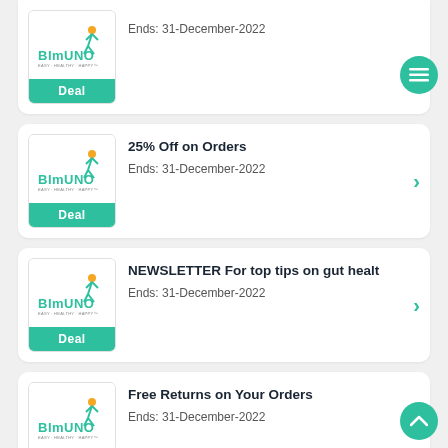[Figure (screenshot): Partial card at top showing Bimuno logo with Deal button and 'Ends: 31-December-2022' text, with a green hamburger menu FAB button]
25% Off on Orders — Ends: 31-December-2022
NEWSLETTER For top tips on gut healt — Ends: 31-December-2022
Free Returns on Your Orders — Ends: 31-December-2022